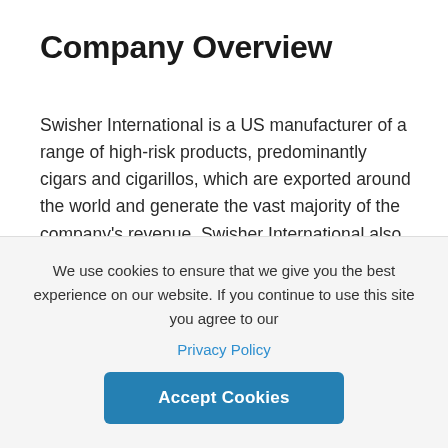Company Overview
Swisher International is a US manufacturer of a range of high-risk products, predominantly cigars and cigarillos, which are exported around the world and generate the vast majority of the company's revenue. Swisher International also offers reduced-risk alternatives, particularly cartridges, which are only available in the US. Between 2017 and 2019, the ratio of the company's capital and R&D expenditure...
We use cookies to ensure that we give you the best experience on our website. If you continue to use this site you agree to our Privacy Policy
Accept Cookies